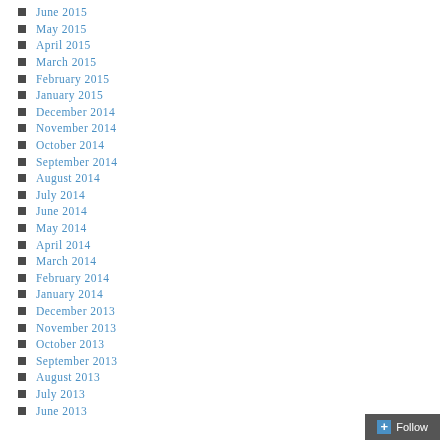June 2015
May 2015
April 2015
March 2015
February 2015
January 2015
December 2014
November 2014
October 2014
September 2014
August 2014
July 2014
June 2014
May 2014
April 2014
March 2014
February 2014
January 2014
December 2013
November 2013
October 2013
September 2013
August 2013
July 2013
June 2013